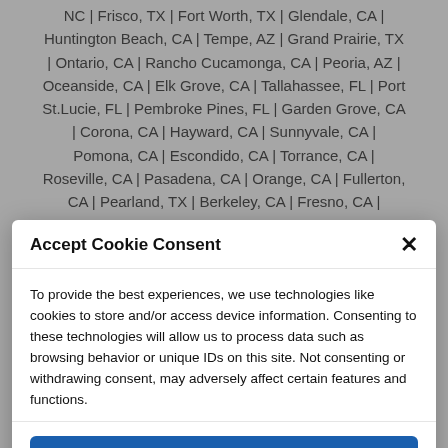NC | Frisco, TX | Fort Worth, TX | Glendale, CA | Huntington Beach, CA | Tempe, AZ | Grand Prairie, TX | Ontario, CA | Rancho Cucamonga, CA | Peoria, AZ | Oceanside, CA | Elk Grove, CA | Tallahassee, FL | Port St.Lucie, FL | Pembroke Pines, FL | Garden Grove, CA | Corona, CA | Hayward, CA | Sunnyvale, CA | Pomona, CA | Escondido, CA | Torrance, CA | Roseville, CA | Pasadena, CA | Orange, CA | Fullerton, CA | Pearland, TX | Berkeley, CA | Fresno, CA |
Accept Cookie Consent
To provide the best experiences, we use technologies like cookies to store and/or access device information. Consenting to these technologies will allow us to process data such as browsing behavior or unique IDs on this site. Not consenting or withdrawing consent, may adversely affect certain features and functions.
Accept